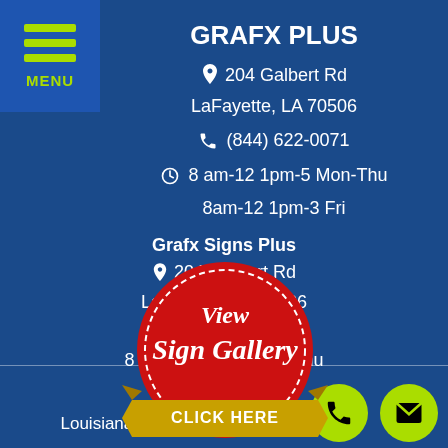[Figure (illustration): Menu button with three green horizontal lines and MENU text on a slightly lighter blue background in top-left corner]
GRAFX PLUS
📍 204 Galbert Rd
LaFayette, LA 70506
📞 (844) 622-0071
🕐 8 am-12 1pm-5 Mon-Thu
8am-12 1pm-3 Fri
Grafx Signs Plus
📍 204 Galbert Rd
LaFayette, LA 70506
337-324-9367
8 am-12 1pm-5 Mon-Thu
8am-12 1pm-3 Fri
[Figure (illustration): Red circular badge/seal with white dashed border, text 'View Sign Gallery' in script and 'CLICK HERE' on a gold ribbon banner]
QUICK LINKS
Louisiana Sign Company
[Figure (illustration): Two lime green circular buttons with phone handset and email envelope icons]